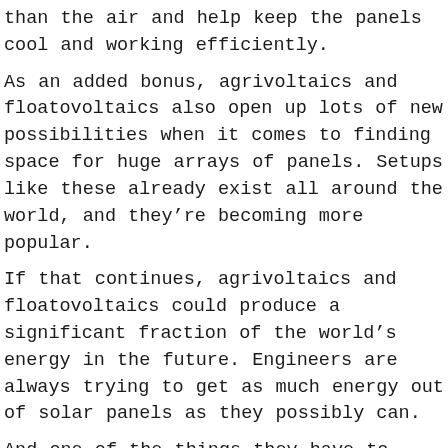than the air and help keep the panels cool and working efficiently.
As an added bonus, agrivoltaics and floatovoltaics also open up lots of new possibilities when it comes to finding space for huge arrays of panels. Setups like these already exist all around the world, and they’re becoming more popular.
If that continues, agrivoltaics and floatovoltaics could produce a significant fraction of the world’s energy in the future. Engineers are always trying to get as much energy out of solar panels as they possibly can.
And one of the things they have to think about is exactly what direction a panel should be facing. See, solar panels produce the most energy when the Sun’s rays are hitting them head-on, rather than at an angle.
So, traditionally, people have installed these panels at a